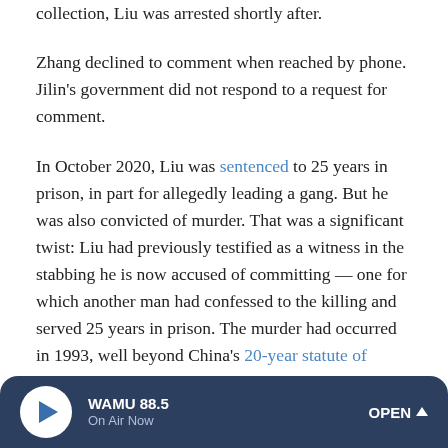collection, Liu was arrested shortly after.
Zhang declined to comment when reached by phone. Jilin's government did not respond to a request for comment.
In October 2020, Liu was sentenced to 25 years in prison, in part for allegedly leading a gang. But he was also convicted of murder. That was a significant twist: Liu had previously testified as a witness in the stabbing he is now accused of committing — one for which another man had confessed to the killing and served 25 years in prison. The murder had occurred in 1993, well beyond China's 20-year statute of limitations.
Liu's family says the charges are fabricated, and that the
WAMU 88.5 On Air Now OPEN